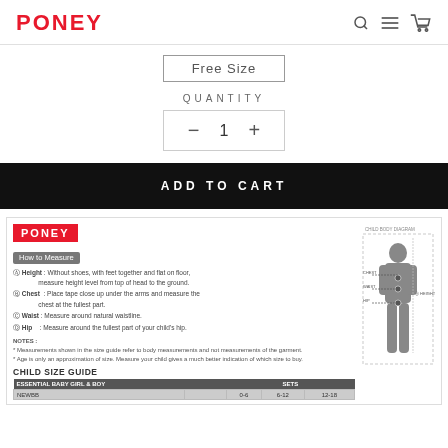PONEY (logo) with navigation icons
Free Size
QUANTITY
- 1 +
ADD TO CART
[Figure (infographic): Poney child size guide with logo, How to Measure instructions, child body diagram with measurement indicators (Chest, Waist, Hip, Height), and a Child Size Guide table for Essential Baby Girl & Boy]
| ESSENTIAL BABY GIRL & BOY | SETS |
| --- | --- |
| NEWBB |  | 0-6 | 6-12 | 12-18 |